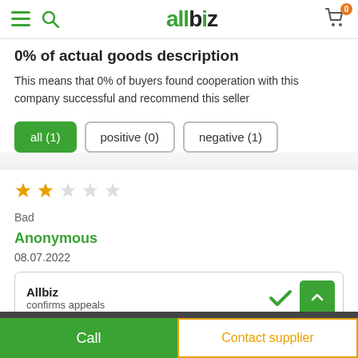allbiz
0% of actual goods description
This means that 0% of buyers found cooperation with this company successful and recommend this seller
all (1)
positive (0)
negative (1)
Bad
Anonymous
08.07.2022
Allbiz confirms appeals
Call | Contact supplier